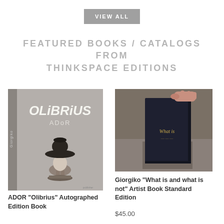VIEW ALL
FEATURED BOOKS / CATALOGS FROM THINKSPACE EDITIONS
[Figure (photo): Book cover of ADOR Olibrius - grey background with illustrated character wearing a large black hat, title text OLiBRiUS and ADOR]
ADOR "Olibrius" Autographed Edition Book
[Figure (photo): Dark navy/black book being held by a hand against a textured background, with golden text reading What is on the cover]
Giorgiko "What is and what is not" Artist Book Standard Edition
$45.00